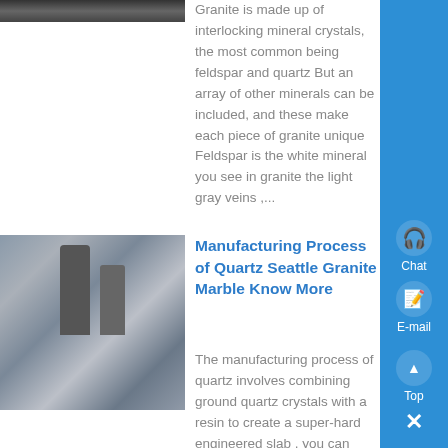[Figure (photo): Partial top image, dark/gray tone, appears to be a cropped photo at the top left]
Granite is made up of interlocking mineral crystals, the most common being feldspar and quartz But an array of other minerals can be included, and these make each piece of granite unique Feldspar is the white mineral you see in granite the light gray veins ,...
[Figure (photo): Industrial machinery/manufacturing plant with large silos and equipment]
Manufacturing Process of Quartz Seattle Granite Marble Know More
The manufacturing process of quartz involves combining ground quartz crystals with a resin to create a super-hard engineered slab , you can achieve essentially uniform color Stones like granite and marble have natural variation along the slab that might be too